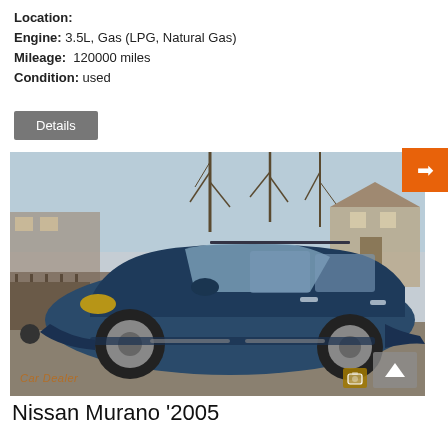Location:
Engine: 3.5L, Gas (LPG, Natural Gas)
Mileage:  120000 miles
Condition: used
Details
[Figure (photo): Blue Nissan Murano 2005 SUV parked on pavement, photographed from driver side front quarter angle, with bare trees and a building/fence in the background. Watermark reads 'CarDealer' in bottom left.]
Nissan Murano '2005